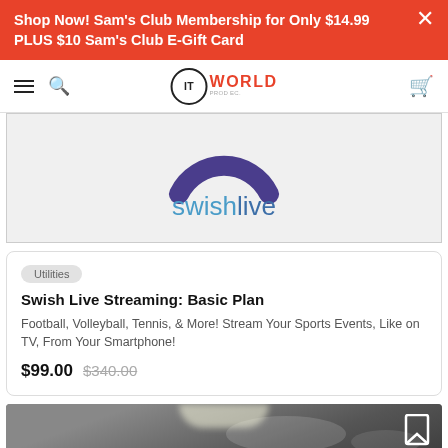Shop Now! Sam's Club Membership for Only $14.99 PLUS $10 Sam's Club E-Gift Card
IT WORLD
[Figure (logo): swishlive logo with purple arc and blue text]
Utilities
Swish Live Streaming: Basic Plan
Football, Volleyball, Tennis, & More! Stream Your Sports Events, Like on TV, From Your Smartphone!
$99.00  $340.00
[Figure (photo): Person viewed from behind, blurred background, bookmark icon in top right]